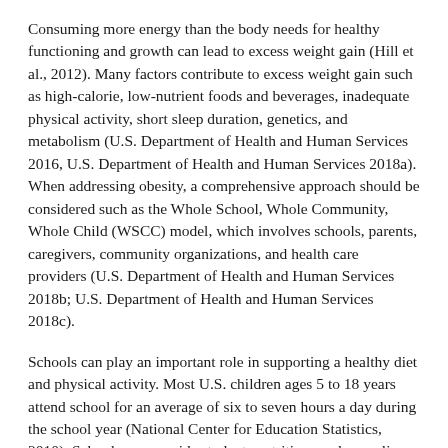Consuming more energy than the body needs for healthy functioning and growth can lead to excess weight gain (Hill et al., 2012). Many factors contribute to excess weight gain such as high-calorie, low-nutrient foods and beverages, inadequate physical activity, short sleep duration, genetics, and metabolism (U.S. Department of Health and Human Services 2016, U.S. Department of Health and Human Services 2018a). When addressing obesity, a comprehensive approach should be considered such as the Whole School, Whole Community, Whole Child (WSCC) model, which involves schools, parents, caregivers, community organizations, and health care providers (U.S. Department of Health and Human Services 2018b; U.S. Department of Health and Human Services 2018c).
Schools can play an important role in supporting a healthy diet and physical activity. Most U.S. children ages 5 to 18 years attend school for an average of six to seven hours a day during the school year (National Center for Education Statistics, 2010). Schools can provide students nutritious and appealing foods and beverages, including water that is safe to drink.